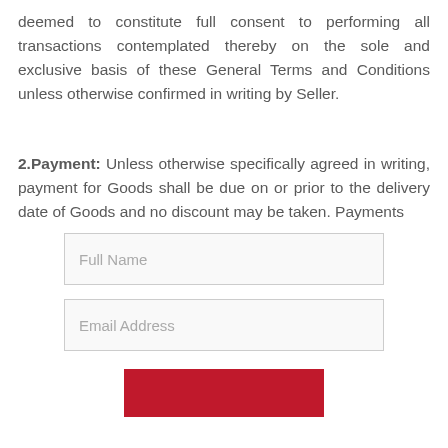deemed to constitute full consent to performing all transactions contemplated thereby on the sole and exclusive basis of these General Terms and Conditions unless otherwise confirmed in writing by Seller.
2.Payment: Unless otherwise specifically agreed in writing, payment for Goods shall be due on or prior to the delivery date of Goods and no discount may be taken. Payments
[Figure (other): Form with Full Name input field, Email Address input field, and a red Subscribe button at the bottom]